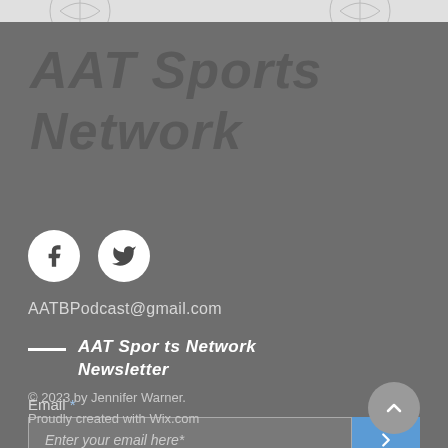AAT Sports Network
[Figure (illustration): Social media icons: Facebook and Twitter circles in white]
AATBPodcast@gmail.com
AAT Sports Network Newsletter
Email *
Enter your email here*
© 2023 by Jennifer Warner. Proudly created with Wix.com